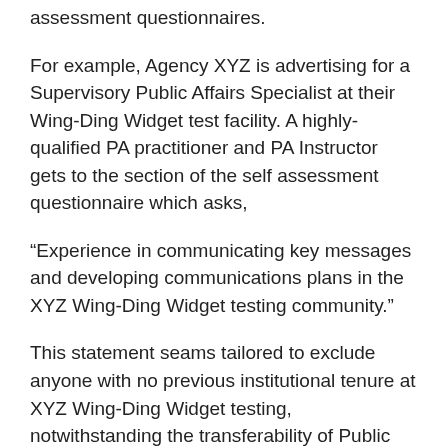assessment questionnaires.
For example, Agency XYZ is advertising for a Supervisory Public Affairs Specialist at their Wing-Ding Widget test facility. A highly-qualified PA practitioner and PA Instructor gets to the section of the self assessment questionnaire which asks,
“Experience in communicating key messages and developing communications plans in the XYZ Wing-Ding Widget testing community.”
This statement seams tailored to exclude anyone with no previous institutional tenure at XYZ Wing-Ding Widget testing, notwithstanding the transferability of Public Affairs KSAs to any